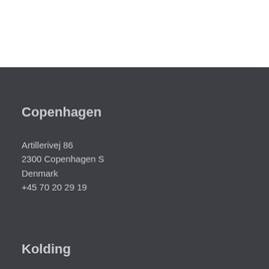Copenhagen
Artillerivej 86
2300 Copenhagen S
Denmark
+45 70 20 29 19
Kolding